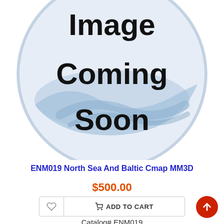[Figure (illustration): Image Coming Soon placeholder graphic — a light blue circle with wave/swirl design and bold black text reading 'Image Coming Soon']
ENM019 North Sea And Baltic Cmap MM3D
$500.00
ADD TO CART
Catalog# ENM019